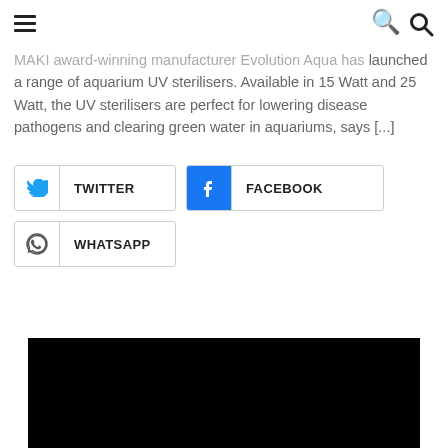☰  [menu]  [search]
MAKI award-winning manufacturer Evolution Aqua has launched a range of aquarium UV sterilisers. Available in 15 Watt and 25 Watt, the UV sterilisers are perfect for lowering disease pathogens and clearing green water in aquariums, says [...]
[Figure (other): Social share buttons: Twitter, Facebook, WhatsApp]
[Figure (other): Black video embed block at bottom of page]